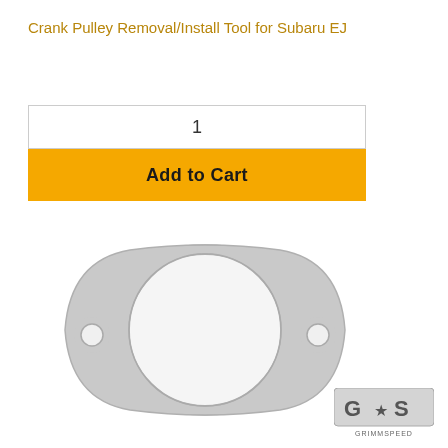Crank Pulley Removal/Install Tool for Subaru EJ
1
Add to Cart
[Figure (photo): Silver metal exhaust gasket with two bolt holes on each side and a large circular center opening, on a white background]
[Figure (logo): GrimmSpeed logo - stylized G*S letters with GRIMMSPEED text below]